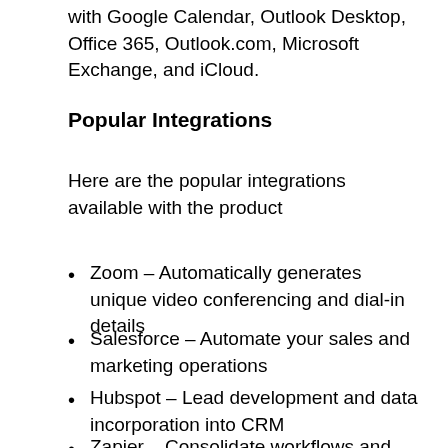with Google Calendar, Outlook Desktop, Office 365, Outlook.com, Microsoft Exchange, and iCloud.
Popular Integrations
Here are the popular integrations available with the product
Zoom – Automatically generates unique video conferencing and dial-in details
Salesforce – Automate your sales and marketing operations
Hubspot – Lead development and data incorporation into CRM
Zapier – Consolidate workflows and create